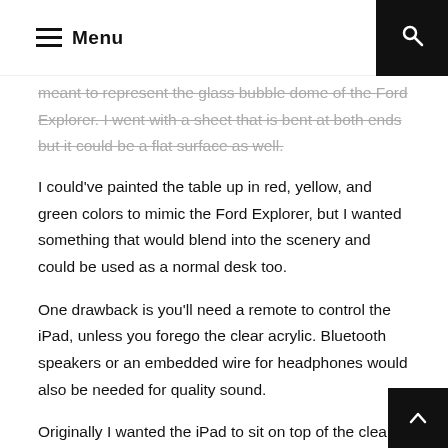Menu
meant to represent the glass bubble dome of the Ford Explorer. I went with a sheet that is bent at both ends but it could be a flat surface as well.
I could've painted the table up in red, yellow, and green colors to mimic the Ford Explorer, but I wanted something that would blend into the scenery and could be used as a normal desk too.
One drawback is you'll need a remote to control the iPad, unless you forego the clear acrylic. Bluetooth speakers or an embedded wire for headphones would also be needed for quality sound.
Originally I wanted the iPad to sit on top of the clear acrylic but that material scratches real easy apparently, so I had suspend the device in the drawer. Acrylic is much safer than